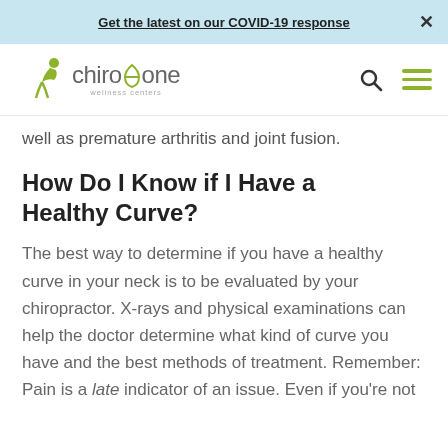Get the latest on our COVID-19 response  ×
[Figure (logo): ChiroOne Wellness Centers logo with stylized figure and green accent]
well as premature arthritis and joint fusion.
How Do I Know if I Have a Healthy Curve?
The best way to determine if you have a healthy curve in your neck is to be evaluated by your chiropractor. X-rays and physical examinations can help the doctor determine what kind of curve you have and the best methods of treatment. Remember: Pain is a late indicator of an issue. Even if you're not